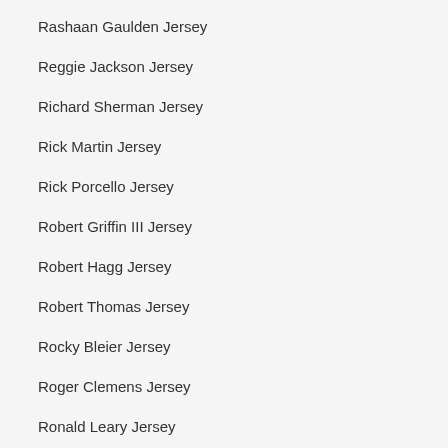Rashaan Gaulden Jersey
Reggie Jackson Jersey
Richard Sherman Jersey
Rick Martin Jersey
Rick Porcello Jersey
Robert Griffin III Jersey
Robert Hagg Jersey
Robert Thomas Jersey
Rocky Bleier Jersey
Roger Clemens Jersey
Ronald Leary Jersey
Russell Westbrook Jersey
Ryan Fitzpatrick Jersey
Ryan Smyth Jersey